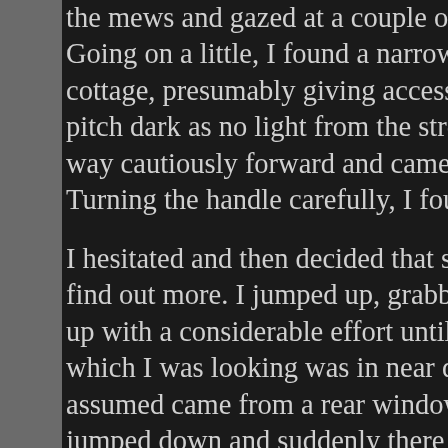the mews and gazed at a couple of dark windows a Going on a little, I found a narrow alley leading dow cottage, presumably giving access to the courtyard pitch dark as no light from the street-lamps penetra way cautiously forward and came to a high wooden Turning the handle carefully, I found that it was lock
I hesitated and then decided that since I'd come thi find out more. I jumped up, grabbed the top of the g up with a considerable effort until I was perched on which I was looking was in near darkness, but there assumed came from a rear window. They had to be jumped down and suddenly there was an offended from under my feet. I had a feeling that I might have moment all hell broke loose when a huge dog set u came pelting round the corner and danced excitedl
I tried to kick it away, but it tripped me and I landed saw in the gloom a large mouth and lots of teeth; ar face enthusiastically. Even as I struggled to push it came on and a young guy appeared and looked do